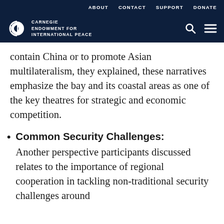ABOUT   CONTACT   SUPPORT   DONATE
CARNEGIE ENDOWMENT FOR INTERNATIONAL PEACE
contain China or to promote Asian multilateralism, they explained, these narratives emphasize the bay and its coastal areas as one of the key theatres for strategic and economic competition.
Common Security Challenges: Another perspective participants discussed relates to the importance of regional cooperation in tackling non-traditional security challenges around